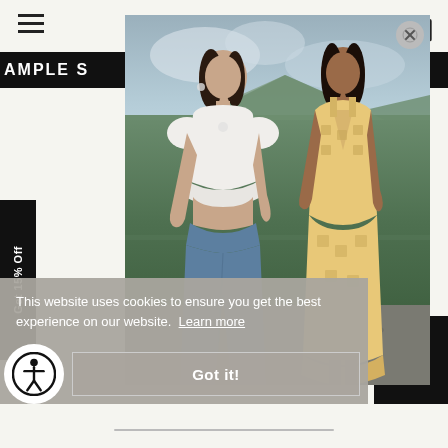[Figure (screenshot): E-commerce website screenshot showing a fashion brand page with two female models. One wears a white crop top with jeans, the other wears a yellow/tan printed mini dress. They stand outdoors with green hills and cloudy sky behind them. The page has a navigation hamburger menu top-left, a shopping bag icon top-right, a black promotional banner, and a 'Get 15% Off' vertical tab on the left side.]
This website uses cookies to ensure you get the best experience on our website. Learn more
Got it!